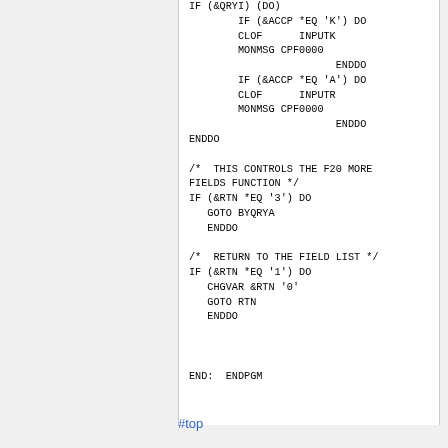IF (&QRYI) (DO)
        IF (&ACCP *EQ 'K') DO
        CLOF      INPUTK
        MONMSG CPF0000
                        ENDDO
        IF (&ACCP *EQ 'A') DO
        CLOF      INPUTR
        MONMSG CPF0000
                        ENDDO
ENDDO

/*  THIS CONTROLS THE F20 MORE
FIELDS FUNCTION */
IF (&RTN *EQ '3') DO
   GOTO BYQRYA
   ENDDO

/*  RETURN TO THE FIELD LIST */
IF (&RTN *EQ '1') DO
   CHGVAR &RTN '0'
   GOTO RTN
   ENDDO



END:  ENDPGM
#top